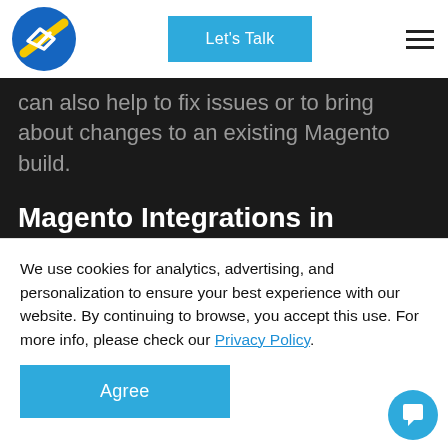[Figure (logo): Company logo with blue and yellow shield/arrow icon]
Let's Talk
can also help to fix issues or to bring about changes to an existing Magento build.
Magento Integrations in Sydney
E-commerce industry requires enormous flexibility in terms of the number of additional
We use cookies for analytics, advertising, and personalization to ensure your best experience with our website. By continuing to browse, you accept this use. For more info, please check our Privacy Policy.
Agree